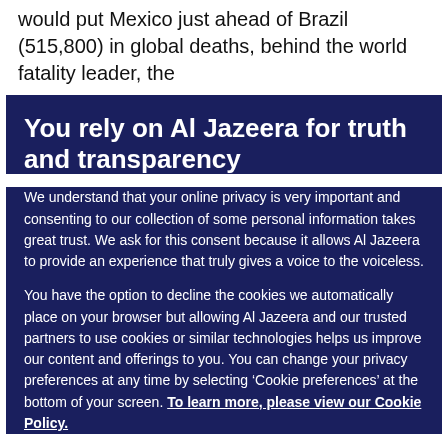would put Mexico just ahead of Brazil (515,800) in global deaths, behind the world fatality leader, the
You rely on Al Jazeera for truth and transparency
We understand that your online privacy is very important and consenting to our collection of some personal information takes great trust. We ask for this consent because it allows Al Jazeera to provide an experience that truly gives a voice to the voiceless.
You have the option to decline the cookies we automatically place on your browser but allowing Al Jazeera and our trusted partners to use cookies or similar technologies helps us improve our content and offerings to you. You can change your privacy preferences at any time by selecting ‘Cookie preferences’ at the bottom of your screen. To learn more, please view our Cookie Policy.